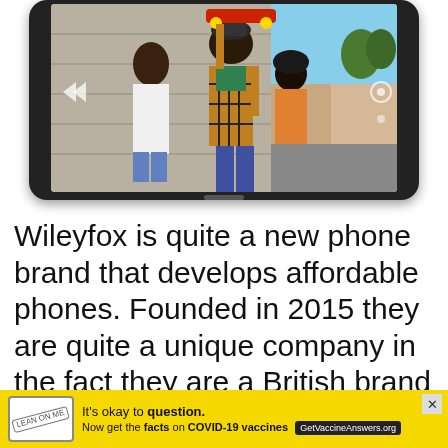[Figure (photo): Smartphone device showing three young people walking outdoors on a street, one holding a red skateboard overhead, displayed on a tablet/phone screen]
Wileyfox is quite a new phone brand that develops affordable phones. Founded in 2015 they are quite a unique company in the fact they are a British brand compared to the usual Chinese brands that dominate the
[Figure (infographic): Yellow advertisement banner: 'It's okay to question. Now get the facts on COVID-19 vaccines GetVaccineAnswers.org' with a stamp-style logo and close button]